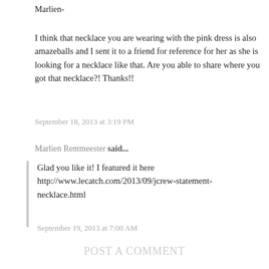Marlien-
I think that necklace you are wearing with the pink dress is also amazeballs and I sent it to a friend for reference for her as she is looking for a necklace like that. Are you able to share where you got that necklace?! Thanks!!
September 18, 2013 at 3:19 PM
Marlien Rentmeester said...
Glad you like it! I featured it here http://www.lecatch.com/2013/09/jcrew-statement-necklace.html
September 19, 2013 at 7:00 AM
POST A COMMENT